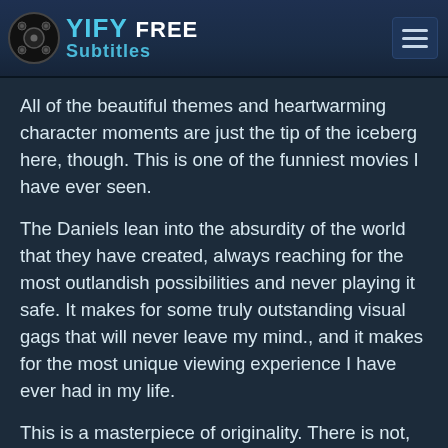YIFY FREE Subtitles
All of the beautiful themes and heartwarming character moments are just the tip of the iceberg here, though. This is one of the funniest movies I have ever seen.
The Daniels lean into the absurdity of the world that they have created, always reaching for the most outlandish possibilities and never playing it safe. It makes for some truly outstanding visual gags that will never leave my mind., and it makes for the most unique viewing experience I have ever had in my life.
This is a masterpiece of originality. There is not, nor will there ever be, a film quite like this one. And I cannot wait to watch it again and again and again.